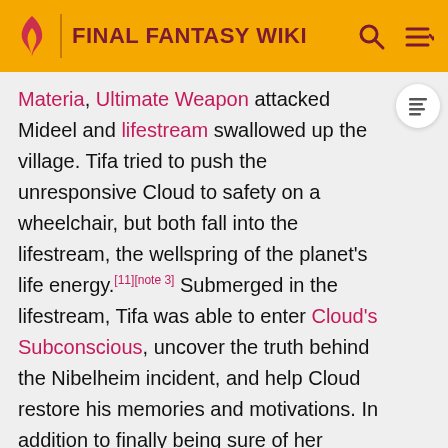FINAL FANTASY WIKI
Materia, Ultimate Weapon attacked Mideel and lifestream swallowed up the village. Tifa tried to push the unresponsive Cloud to safety on a wheelchair, but both fall into the lifestream, the wellspring of the planet's life energy.[11][note 3] Submerged in the lifestream, Tifa was able to enter Cloud's Subconscious, uncover the truth behind the Nibelheim incident, and help Cloud restore his memories and motivations. In addition to finally being sure of her memories, Tifa learned Cloud admired her when he was young, and had joined SOLDIER to impress her, and also that Cloud had helped her during the incident though she had not known it was him.[11] After Cloud's memories were restored, the two washed ashore near Mideel where the others found them and brought them